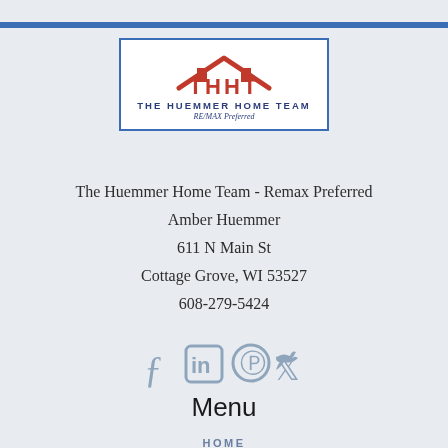[Figure (logo): The Huemmer Home Team logo with red house/THHT letters and blue border]
The Huemmer Home Team - Remax Preferred
Amber Huemmer
611 N Main St
Cottage Grove, WI 53527
608-279-5424
[Figure (illustration): Social media icons: Facebook, LinkedIn, Pinterest, Twitter]
Menu
HOME
SEARCH HOMES
GENERAL
BUYERS